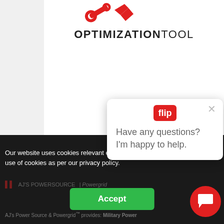[Figure (logo): Red wrench/tools icon at top of white card]
OPTIMIZATION TOOL
[Figure (logo): AJ's PowerSource features center logo with red gear icon box]
Our website uses cookies relevant experience. By cli consent to the use of cookies as per our privacy policy.
[Figure (screenshot): Footer logos: AJ's PowerSource and Powergrid in dark bar]
AJ's Power Source & Powergrid™ provides: Military Power
[Figure (other): Chat popup with Flip logo saying 'Have any questions? I'm happy to help.' and close X button]
[Figure (other): Red circular chat FAB button with chat icon]